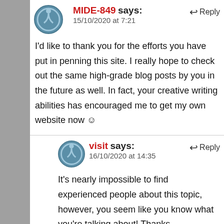MIDE-849 says: 15/10/2020 at 7:21 — Reply
I'd like to thank you for the efforts you have put in penning this site. I really hope to check out the same high-grade blog posts by you in the future as well. In fact, your creative writing abilities has encouraged me to get my own website now ☺
visit says: 16/10/2020 at 14:35 — Reply
It's nearly impossible to find experienced people about this topic, however, you seem like you know what you're talking about! Thanks
artificial intelligence says: — Reply